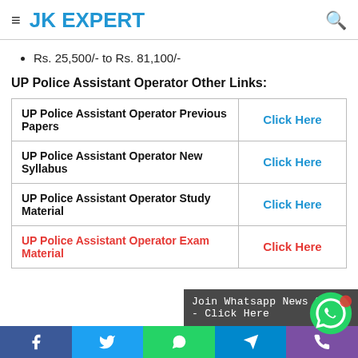JK EXPERT
Rs. 25,500/- to Rs. 81,100/-
UP Police Assistant Operator Other Links:
| UP Police Assistant Operator Previous Papers | Click Here |
| UP Police Assistant Operator New Syllabus | Click Here |
| UP Police Assistant Operator Study Material | Click Here |
| UP Police Assistant Operator Exam Material | Click Here |